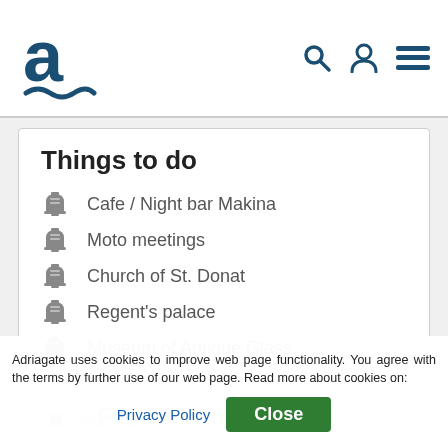Adriagate navigation header with logo and icons
Things to do
Cafe / Night bar Makina
Moto meetings
Church of St. Donat
Regent's palace
Museum of Antique Glass
Food & Wine
Steak-ho...
Adriagate uses cookies to improve web page functionality. You agree with the terms by further use of our web page. Read more about cookies on: Privacy Policy  Close